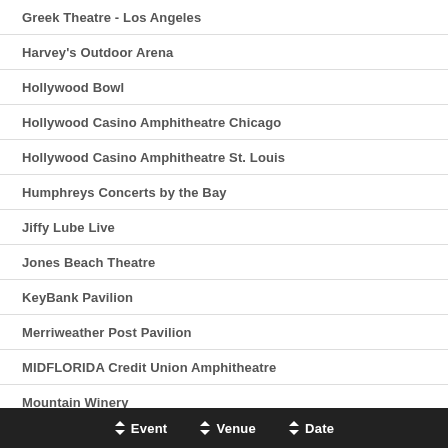Greek Theatre - Los Angeles
Harvey's Outdoor Arena
Hollywood Bowl
Hollywood Casino Amphitheatre Chicago
Hollywood Casino Amphitheatre St. Louis
Humphreys Concerts by the Bay
Jiffy Lube Live
Jones Beach Theatre
KeyBank Pavilion
Merriweather Post Pavilion
MIDFLORIDA Credit Union Amphitheatre
Mountain Winery
North Island Credit Union Amphitheatre
Oak Mountain Amphitheatre
Event   Venue   Date